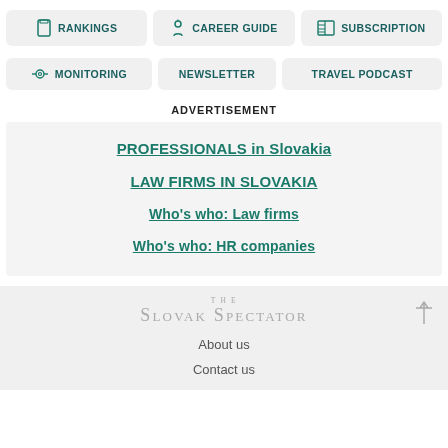RANKINGS
CAREER GUIDE
SUBSCRIPTION
MONITORING
NEWSLETTER
TRAVEL PODCAST
ADVERTISEMENT
PROFESSIONALS in Slovakia
LAW FIRMS IN SLOVAKIA
Who's who: Law firms
Who's who: HR companies
[Figure (logo): The Slovak Spectator logo in grey]
About us
Contact us